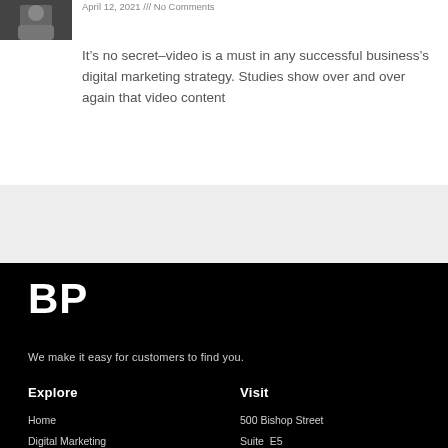[Figure (photo): Small thumbnail photo of a person, darkened/grayscale]
April 12, 2021 /// No Comments
It’s no secret–video is a must in any successful business’s digital marketing strategy. Studies show over and over again that video content
We make it easy for customers to find you.
BP
Explore
Visit
Home
500 Bishop Street
Digital Marketing
Suite  E5